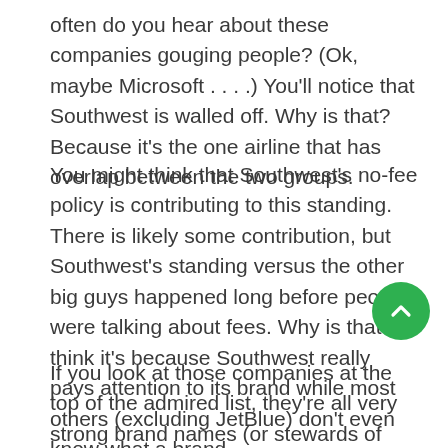often do you hear about these companies gouging people? (Ok, maybe Microsoft . . . .) You'll notice that Southwest is walled off. Why is that? Because it's the one airline that has overlap between the two groups.
You might think that Southwest's no-fee policy is contributing to this standing. There is likely some contribution, but Southwest's standing versus the other big guys happened long before people were talking about fees. Why is that? I think it's because Southwest really pays attention to its brand while most others (excluding JetBlue) don't even know what a brand
If you look at those companies at the top of the admired list, they're all very strong brand names (or stewards of strong brands, like Procter & Gamble). They have spent